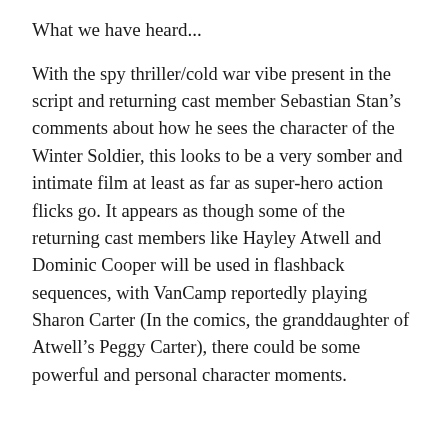What we have heard...
With the spy thriller/cold war vibe present in the script and returning cast member Sebastian Stan’s comments about how he sees the character of the Winter Soldier, this looks to be a very somber and intimate film at least as far as super-hero action flicks go. It appears as though some of the returning cast members like Hayley Atwell and Dominic Cooper will be used in flashback sequences, with VanCamp reportedly playing Sharon Carter (In the comics, the granddaughter of Atwell’s Peggy Carter), there could be some powerful and personal character moments.